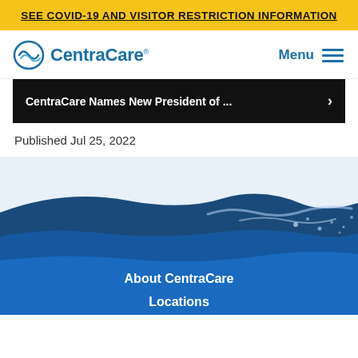SEE COVID-19 AND VISITOR RESTRICTION INFORMATION
[Figure (logo): CentraCare logo with circular wave icon and Menu hamburger navigation]
[Figure (screenshot): Dark news headline bar: CentraCare Names New President of ... with right arrow]
Published Jul 25, 2022
[Figure (photo): Blue ocean wave photograph used as decorative background for footer]
About CentraCare
Locations